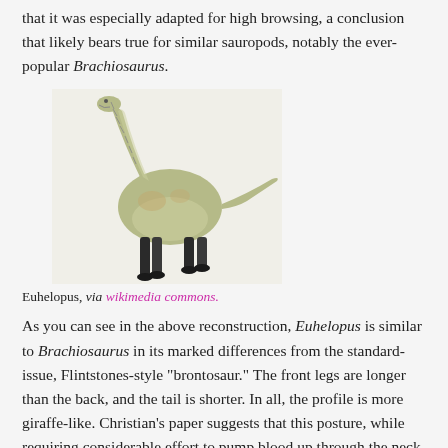that it was especially adapted for high browsing, a conclusion that likely bears true for similar sauropods, notably the ever-popular Brachiosaurus.
[Figure (illustration): Illustration of Euhelopus, a sauropod dinosaur with a long neck, longer front legs than back legs, and a shorter tail, shown in side profile on a light background.]
Euhelopus, via wikimedia commons.
As you can see in the above reconstruction, Euhelopus is similar to Brachiosaurus in its marked differences from the standard-issue, Flintstones-style "brontosaur." The front legs are longer than the back, and the tail is shorter. In all, the profile is more giraffe-like. Christian's paper suggests that this posture, while requiring considerable effort to pump blood up through the neck, was less expensive than grazing over a broader area – holding its head at a